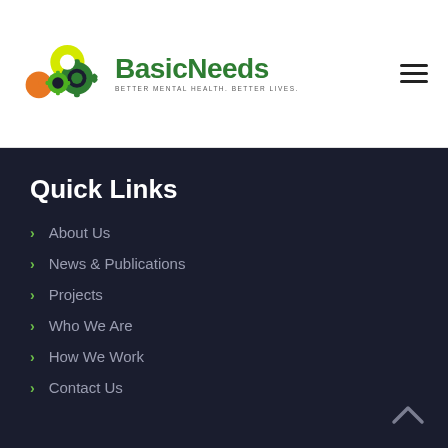[Figure (logo): BasicNeeds logo with colorful gear shapes and tagline BETTER MENTAL HEALTH. BETTER LIVES.]
Quick Links
About Us
News & Publications
Projects
Who We Are
How We Work
Contact Us